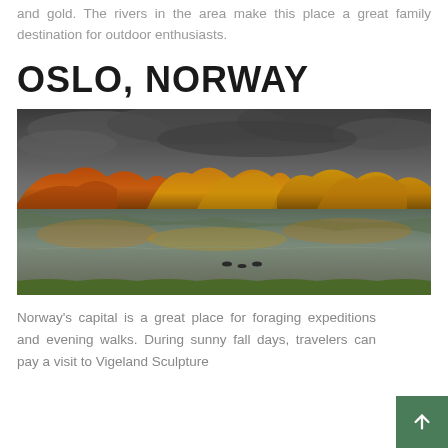and gold. The rivers in the area make this place a great family destination for outdoor enthusiasts.
OSLO, NORWAY
[Figure (photo): Autumn scene in Oslo, Norway showing a lake surrounded by trees with golden and orange foliage under a dramatic cloudy sky. Ducks are visible on the water.]
Norway's capital is a great place for foraging expeditions and evening walks. During sunny fall days, travelers can pay a visit to Vigeland Sculpture